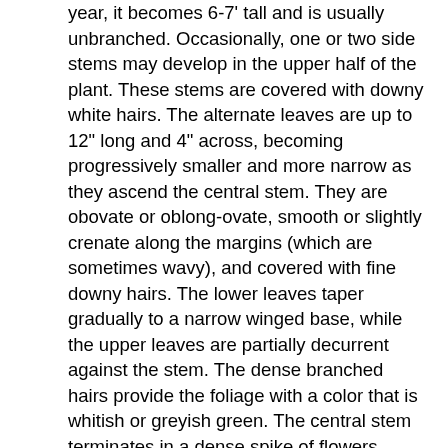year, it becomes 6-7' tall and is usually unbranched. Occasionally, one or two side stems may develop in the upper half of the plant. These stems are covered with downy white hairs. The alternate leaves are up to 12" long and 4" across, becoming progressively smaller and more narrow as they ascend the central stem. They are obovate or oblong-ovate, smooth or slightly crenate along the margins (which are sometimes wavy), and covered with fine downy hairs. The lower leaves taper gradually to a narrow winged base, while the upper leaves are partially decurrent against the stem. The dense branched hairs provide the foliage with a color that is whitish or greyish green. The central stem terminates in a dense spike of flowers about ½–2' long. Each flower is about ¾" across and consists of 5 pale yellow petals, 5 hairy green sepals, 5 stamens, and a pistil. The 3 upper stamens are covered with white or yellow hairs, while the 2 lower stamens are hairless.